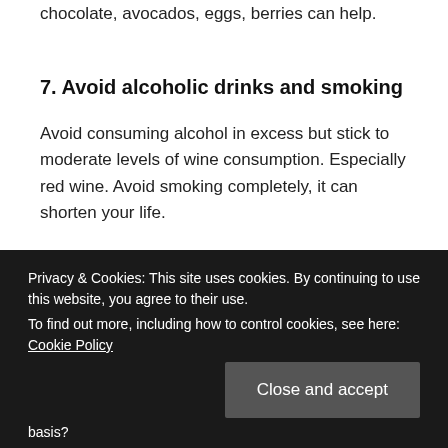chocolate, avocados, eggs, berries can help.
7. Avoid alcoholic drinks and smoking
Avoid consuming alcohol in excess but stick to moderate levels of wine consumption. Especially red wine. Avoid smoking completely, it can shorten your life.
Privacy & Cookies: This site uses cookies. By continuing to use this website, you agree to their use.
To find out more, including how to control cookies, see here: Cookie Policy
Close and accept
basis?